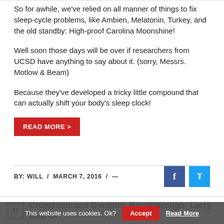So for awhile, we've relied on all manner of things to fix sleep-cycle problems, like Ambien, Melatonin, Turkey, and the old standby: High-proof Carolina Moonshine!
Well soon those days will be over if researchers from UCSD have anything to say about it. (sorry, Messrs. Motlow & Beam)
Because they've developed a tricky little compound that can actually shift your body's sleep clock!
READ MORE >
BY: WILL / MARCH 7, 2016 / —
Crowdsourced Genetics Breakthrough: Larry Bird Or
This website uses cookies. Ok?